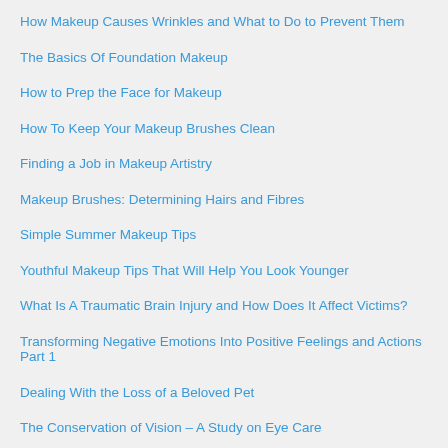How Makeup Causes Wrinkles and What to Do to Prevent Them
The Basics Of Foundation Makeup
How to Prep the Face for Makeup
How To Keep Your Makeup Brushes Clean
Finding a Job in Makeup Artistry
Makeup Brushes: Determining Hairs and Fibres
Simple Summer Makeup Tips
Youthful Makeup Tips That Will Help You Look Younger
What Is A Traumatic Brain Injury and How Does It Affect Victims?
Transforming Negative Emotions Into Positive Feelings and Actions Part 1
Dealing With the Loss of a Beloved Pet
The Conservation of Vision – A Study on Eye Care
How Do You Assess Your Life?
How To Apply Makeup